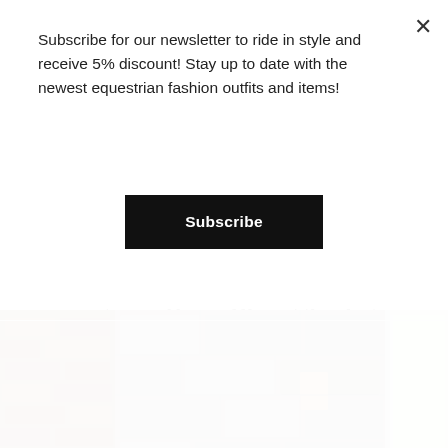Subscribe for our newsletter to ride in style and receive 5% discount! Stay up to date with the newest equestrian fashion outfits and items!
Subscribe
Passier Apollo Snaffle Bridle Black
Beautiful snaffle bridle with soft padded crank noseband made of patent leather. The browband is finished with
€265,00
[Figure (photo): Stone and brick wall with a window showing greenery outside]